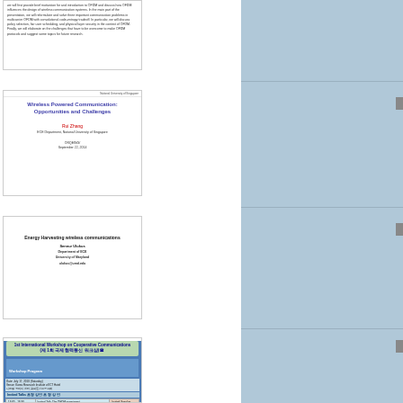[Figure (screenshot): Partial slide with dense small text about OFDM and wireless communication design]
[Figure (screenshot): Slide titled 'Wireless Powered Communication: Opportunities and Challenges' by Rui Zhang, ECE Department, National University of Singapore, ORQEING, September 22, 2014]
[Figure (screenshot): Slide titled 'Energy Harvesting wireless communications' by Sennur Ulukus, Department of ECE, University of Maryland, ulukus@umd.edu]
[Figure (screenshot): Slide for 1st International Workshop on Cooperative Communications (제 1회 국제 협력통신 워크샵) with Workshop Program table showing invited talks]